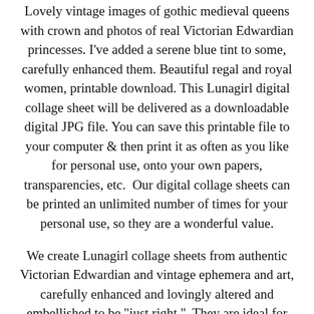Lovely vintage images of gothic medieval queens with crown and photos of real Victorian Edwardian princesses. I've added a serene blue tint to some, carefully enhanced them. Beautiful regal and royal women, printable download. This Lunagirl digital collage sheet will be delivered as a downloadable digital JPG file. You can save this printable file to your computer & then print it as often as you like for personal use, onto your own papers, transparencies, etc.  Our digital collage sheets can be printed an unlimited number of times for your personal use, so they are a wonderful value.
We create Lunagirl collage sheets from authentic Victorian Edwardian and vintage ephemera and art, carefully enhanced and lovingly altered and embellished to be "just right."  They are ideal for altered art and ATCs, altered books and boxes, card making, jewelry making, scrapbooking, collage, assemblage, decoupage, gift tags and hang tags, labels,